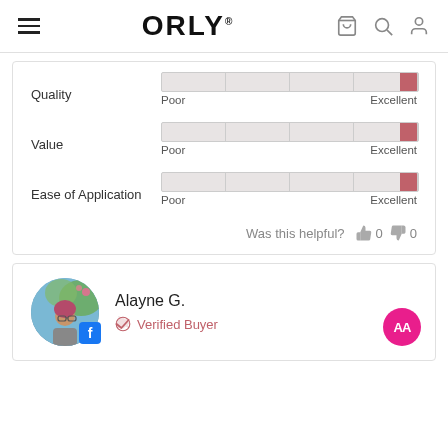ORLY.
[Figure (infographic): Ratings sliders for Quality, Value, and Ease of Application, each showing a bar nearly at maximum (Excellent). Labels: Poor on left, Excellent on right.]
Was this helpful? 0 0
Alayne G.
Verified Buyer